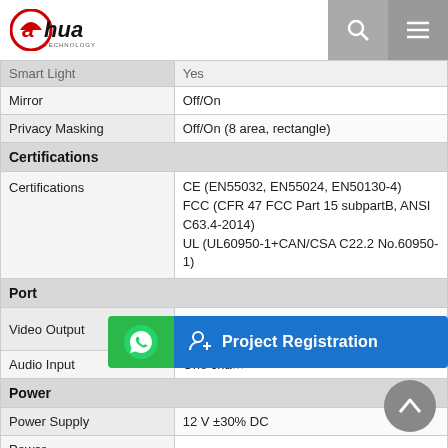Dahua Technology logo with search and menu icons
| Feature | Value |
| --- | --- |
| Smart Light | Yes |
| Mirror | Off/On |
| Privacy Masking | Off/On (8 area, rectangle) |
| Certifications |  |
| Certifications | CE (EN55032, EN55024, EN50130-4) FCC (CFR 47 FCC Part 15 subpartB, ANSI C63.4-2014) UL (UL60950-1+CAN/CSA C22.2 No.60950-1) |
| Port |  |
| Video Output | Video output choices of CVI/TVI/AHD/CVBS by one BNC port |
| Audio Input | One cha… |
| Power |  |
| Power Supply | 12 V ±30% DC |
| Power Consumption | Max 5.1 W (12 V DC, LED on) |
| Environment |  |
| Operating | –40 °C to +60 °C (–40 °F to 140 °F); ≤ 95% |
[Figure (other): Project Registration banner overlay with green WhatsApp icon and blue background]